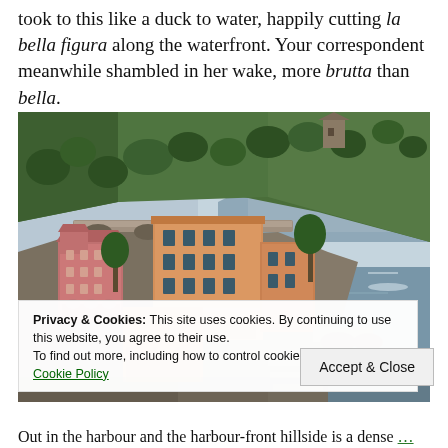took to this like a duck to water, happily cutting la bella figura along the waterfront. Your correspondent meanwhile shambled in her wake, more brutta than bella.
[Figure (photo): Colourful villas and buildings clinging to a rocky coastal hillside above the sea, with lush green trees, an arched viaduct, and calm blue-grey water in the background — likely the Ligurian coast near Portofino, Italy.]
Privacy & Cookies: This site uses cookies. By continuing to use this website, you agree to their use.
To find out more, including how to control cookies, see here: Cookie Policy
Accept & Close
Out in the harbour and the harbour-front hillside is a dense…